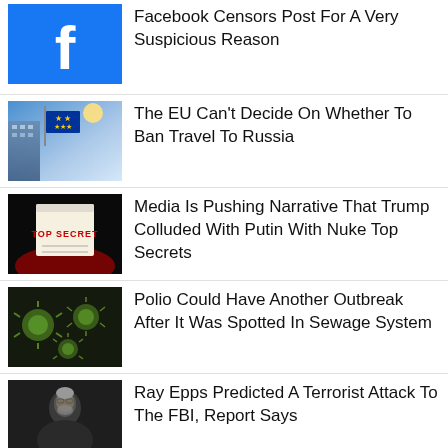[Figure (photo): Facebook logo (blue background with white f icon)]
Facebook Censors Post For A Very Suspicious Reason
[Figure (photo): EU flag with building and blue sky]
The EU Can't Decide On Whether To Ban Travel To Russia
[Figure (photo): Top Secret document on dark background with red light]
Media Is Pushing Narrative That Trump Colluded With Putin With Nuke Top Secrets
[Figure (photo): Virus cells / polio virus illustration on dark background]
Polio Could Have Another Outbreak After It Was Spotted In Sewage System
[Figure (photo): Man with grey hair and beard, dark background]
Ray Epps Predicted A Terrorist Attack To The FBI, Report Says